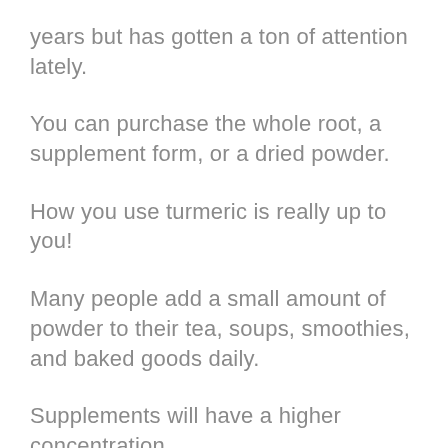years but has gotten a ton of attention lately.
You can purchase the whole root, a supplement form, or a dried powder.
How you use turmeric is really up to you!
Many people add a small amount of powder to their tea, soups, smoothies, and baked goods daily.
Supplements will have a higher concentration.